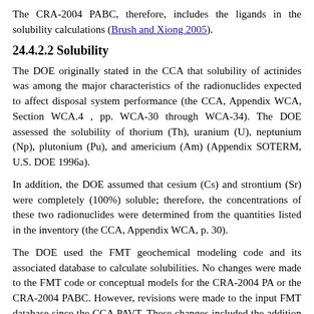The CRA-2004 PABC, therefore, includes the ligands in the solubility calculations (Brush and Xiong 2005).
24.4.2.2 Solubility
The DOE originally stated in the CCA that solubility of actinides was among the major characteristics of the radionuclides expected to affect disposal system performance (the CCA, Appendix WCA, Section WCA.4 , pp. WCA-30 through WCA-34). The DOE assessed the solubility of thorium (Th), uranium (U), neptunium (Np), plutonium (Pu), and americium (Am) (Appendix SOTERM, U.S. DOE 1996a).
In addition, the DOE assumed that cesium (Cs) and strontium (Sr) were completely (100%) soluble; therefore, the concentrations of these two radionuclides were determined from the quantities listed in the inventory (the CCA, Appendix WCA, p. 30).
The DOE used the FMT geochemical modeling code and its associated database to calculate solubilities. No changes were made to the FMT code or conceptual models for the CRA-2004 PA or the CRA-2004 PABC. However, revisions were made to the input FMT database since the CCA PAVT. These changes included the addition of new aqueous An species to the database and revisions to existing species data because of the availability of new